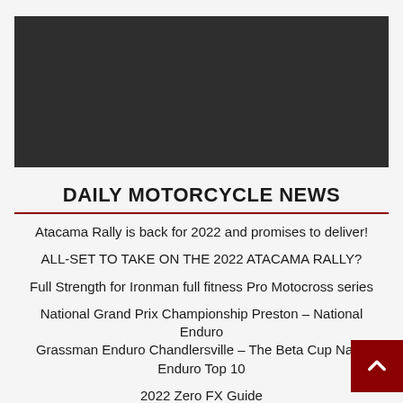[Figure (photo): Dark rectangular image area at top of page]
DAILY MOTORCYCLE NEWS
Atacama Rally is back for 2022 and promises to deliver!
ALL-SET TO TAKE ON THE 2022 ATACAMA RALLY?
Full Strength for Ironman full fitness Pro Motocross series
National Grand Prix Championship Preston – National Enduro Grassman Enduro Chandlersville – The Beta Cup National Enduro Top 10
2022 Zero FX Guide